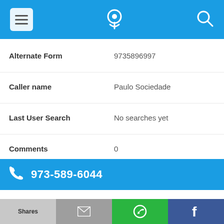[Figure (screenshot): Mobile app top navigation bar with menu (hamburger) icon on left, phone/location pin icon in center, and search icon on right, all on blue background]
Alternate Form   9735896997
Caller name   Paulo Sociedade
Last User Search   No searches yet
Comments   0
973-589-6044
Alternate Form   9735896044
Caller name   David Feijoo
Shares